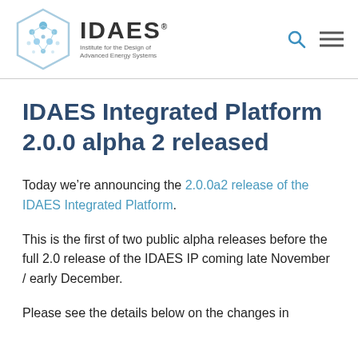IDAES — Institute for the Design of Advanced Energy Systems
IDAES Integrated Platform 2.0.0 alpha 2 released
Today we're announcing the 2.0.0a2 release of the IDAES Integrated Platform.
This is the first of two public alpha releases before the full 2.0 release of the IDAES IP coming late November / early December.
Please see the details below on the changes in